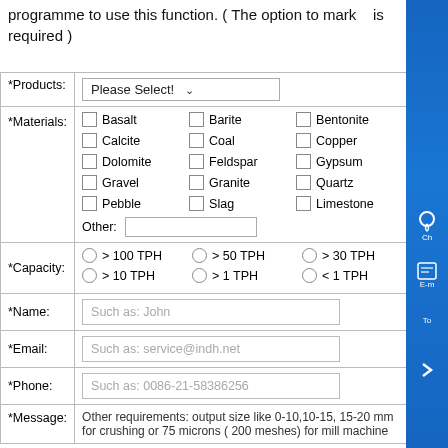programme to use this function. ( The option to mark * is required )
| Field | Value |
| --- | --- |
| *Products: | Please Select! (dropdown) |
| *Materials: | Basalt, Barite, Bentonite, Calcite, Coal, Copper, Dolomite, Feldspar, Gypsum, Gravel, Granite, Quartz, Pebble, Slag, Limestone, Other: (text input) |
| *Capacity: | > 100 TPH, > 50 TPH, > 30 TPH, > 10 TPH, > 1 TPH, < 1 TPH |
| *Name: | Such as: John |
| *Email: | Such as: service@indh.net |
| *Phone: | Such as: 0086-21-58386256 |
| *Message: | Other requirements: output size like 0-10,10-15, 15-20 mm for crushing or 75 microns ( 200 meshes) for mill machine |